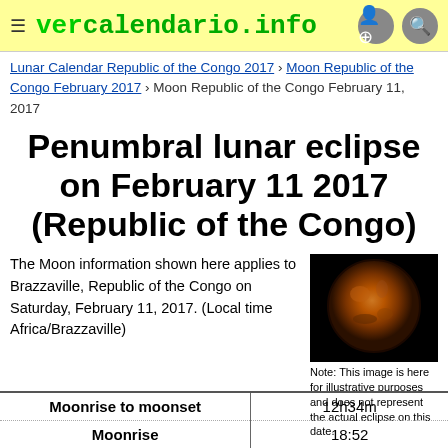vercalendario.info
Lunar Calendar Republic of the Congo 2017 › Moon Republic of the Congo February 2017 › Moon Republic of the Congo February 11, 2017
Penumbral lunar eclipse on February 11 2017 (Republic of the Congo)
The Moon information shown here applies to Brazzaville, Republic of the Congo on Saturday, February 11, 2017. (Local time Africa/Brazzaville)
[Figure (photo): Photo of a lunar eclipse showing the moon with reddish-orange coloring against a black background]
Note: This image is here for illustrative purposes and does not represent the actual eclipse on this date.
| Moonrise to moonset | 12h34m |
| --- | --- |
| Moonrise | 18:52 |